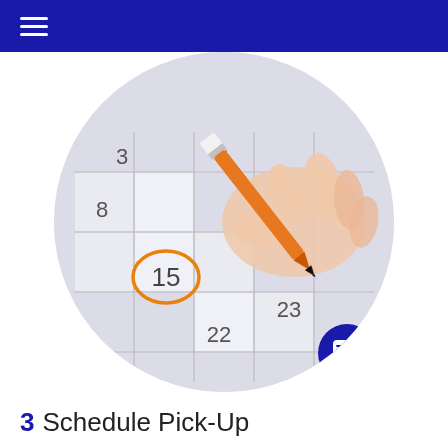[Figure (photo): A hand holding an orange marker/pen, circling the number 15 on a calendar page. The calendar shows dates including 8, 15, 22, 23. The photo is cropped in a circle.]
3  Schedule Pick-Up